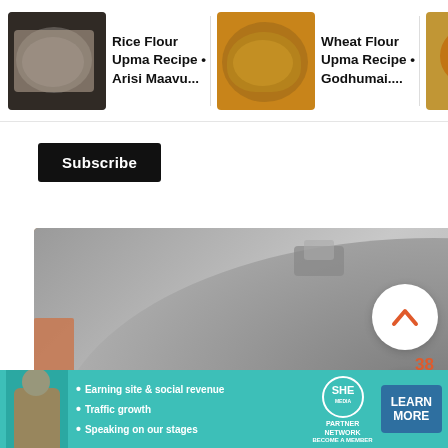[Figure (screenshot): Website screenshot showing recipe recommendation thumbnails at the top: 'Rice Flour Upma Recipe • Arisi Maavu...', 'Wheat Flour Upma Recipe • Godhumai...', 'Kadalai Ma Muruku Recipe •...'. Below is a Subscribe button. Main content shows a photo of flour inside a steel pot/mixer jar. Right side has upvote icon (38 count) and heart icon. Bottom has a SHE Partner Network advertisement banner.]
Rice Flour Upma Recipe • Arisi Maavu...
Wheat Flour Upma Recipe • Godhumai....
Kadalai Ma Muruku Recipe •...
Subscribe
38
X
Earning site & social revenue
Traffic growth
Speaking on our stages
SHE PARTNER NETWORK BECOME A MEMBER
LEARN MORE